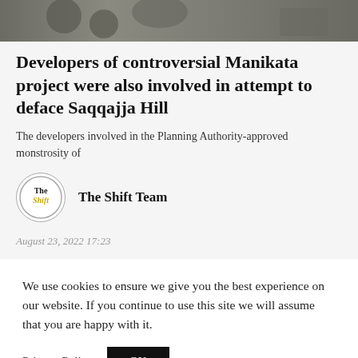[Figure (photo): Outdoor scene, partial view of people and environment at top of page]
Developers of controversial Manikata project were also involved in attempt to deface Saqqajja Hill
The developers involved in the Planning Authority-approved monstrosity of
[Figure (logo): The Shift logo — circular, text reads 'The Shift']
The Shift Team
August 23, 2022 17:23
We use cookies to ensure we give you the best experience on our website. If you continue to use this site we will assume that you are happy with it.
Privacy Policy OK